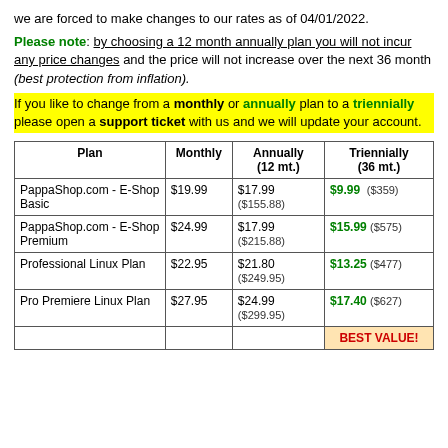we are forced to make changes to our rates as of 04/01/2022.
Please note: by choosing a 12 month annually plan you will not incur any price changes and the price will not increase over the next 36 month (best protection from inflation).
If you like to change from a monthly or annually plan to a triennially please open a support ticket with us and we will update your account.
| Plan | Monthly | Annually (12 mt.) | Triennially (36 mt.) |
| --- | --- | --- | --- |
| PappaShop.com - E-Shop Basic | $19.99 | $12.99 ($155.88) | $9.99 ($359) |
| PappaShop.com - E-Shop Premium | $24.99 | $17.99 ($215.88) | $15.99 ($575) |
| Professional Linux Plan | $22.95 | $21.80 ($249.95) | $13.25 ($477) |
| Pro Premiere Linux Plan | $27.95 | $24.99 ($299.95) | $17.40 ($627) |
|  |  |  | BEST VALUE! |